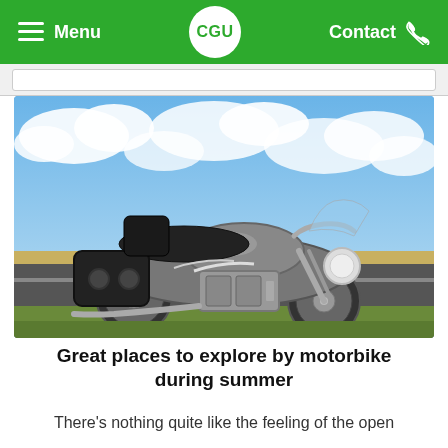Menu  CGU  Contact
[Figure (photo): A large touring motorcycle (Harley-Davidson style) parked on the side of a road with a blue cloudy sky and flat plains in the background.]
Great places to explore by motorbike during summer
There’s nothing quite like the feeling of the open